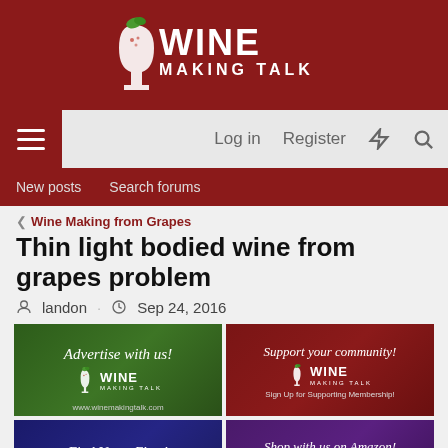Wine Making Talk
Thin light bodied wine from grapes problem
landon · Sep 24, 2016
[Figure (screenshot): Four advertisement banners for Wine Making Talk: Advertise with us (green background), Support your community / Sign Up for Supporting Membership (dark red), Find Us on Ebay (dark blue), Shop with us on Amazon (purple)]